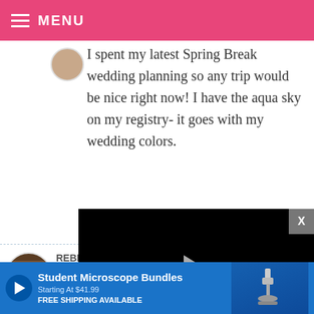MENU
I spent my latest Spring Break wedding planning so any trip would be nice right now! I have the aqua sky on my registry- it goes with my wedding colors.
REBECCA
We are lu... so I am h...
[Figure (screenshot): Video player overlay showing black screen with play button, progress bar, and controls showing 13:52 timestamp, CC, grid, settings, and fullscreen buttons]
I LOVE the Aqua Sky!
[Figure (infographic): Advertisement banner for Student Microscope Bundles starting at $41.99 with free shipping available, blue background with microscope image]